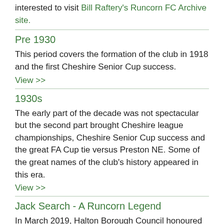interested to visit Bill Raftery's Runcorn FC Archive site.
Pre 1930
This period covers the formation of the club in 1918 and the first Cheshire Senior Cup success.
View >>
1930s
The early part of the decade was not spectacular but the second part brought Cheshire league championships, Cheshire Senior Cup success and the great FA Cup tie versus Preston NE. Some of the great names of the club's history appeared in this era.
View >>
Jack Search - A Runcorn Legend
In March 2019, Halton Borough Council honoured the memory of the man widely regarded to have been the Linnets' greatest ever player.